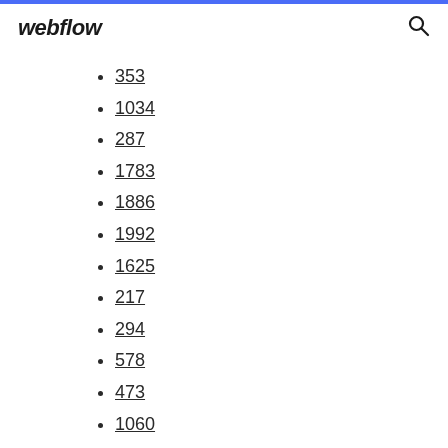webflow
353
1034
287
1783
1886
1992
1625
217
294
578
473
1060